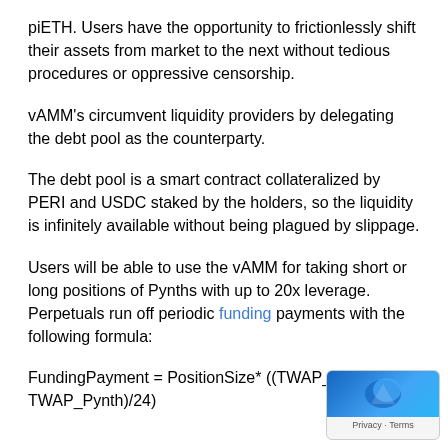piETH. Users have the opportunity to frictionlessly shift their assets from market to the next without tedious procedures or oppressive censorship.
vAMM's circumvent liquidity providers by delegating the debt pool as the counterparty.
The debt pool is a smart contract collateralized by PERI and USDC staked by the holders, so the liquidity is infinitely available without being plagued by slippage.
Users will be able to use the vAMM for taking short or long positions of Pynths with up to 20x leverage. Perpetuals run off periodic funding payments with the following formula: